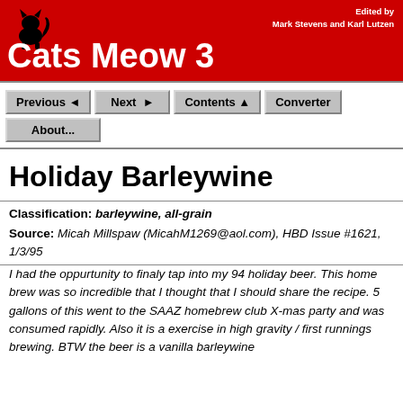Cats Meow 3 — Edited by Mark Stevens and Karl Lutzen
Classification: barleywine, all-grain
Source: Micah Millspaw (MicahM1269@aol.com), HBD Issue #1621, 1/3/95
Holiday Barleywine
I had the oppurtunity to finaly tap into my 94 holiday beer. This home brew was so incredible that I thought that I should share the recipe. 5 gallons of this went to the SAAZ homebrew club X-mas party and was consumed rapidly. Also it is a exercise in high gravity / first runnings brewing. BTW the beer is a vanilla barleywine